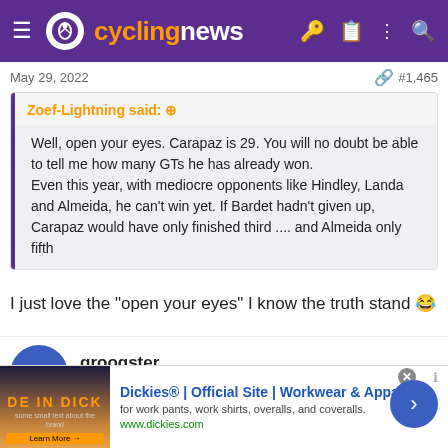cyclingnews
May 29, 2022  #1,465
Zoef-Lightning said:
Well, open your eyes. Carapaz is 29. You will no doubt be able to tell me how many GTs he has already won.
Even this year, with mediocre opponents like Hindley, Landa and Almeida, he can't win yet. If Bardet hadn't given up, Carapaz would have only finished third .... and Almeida only fifth
I just love the "open your eyes" I know the truth stand 😂
groogster  May 18, 2021  457  658  3,480
[Figure (screenshot): Dickies advertisement banner: Dickies® | Official Site | Workwear & Apparel, for work pants, work shirts, overalls, and coveralls. www.dickies.com]